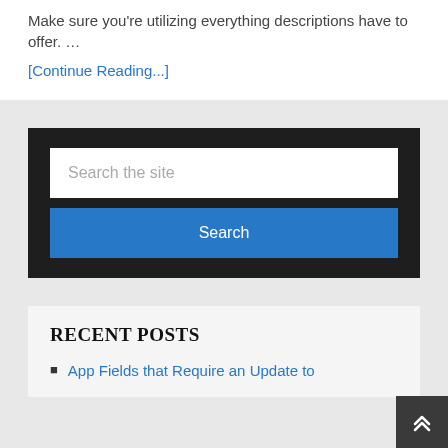Make sure you're utilizing everything descriptions have to offer. …
[Continue Reading...]
Search the site
Search
RECENT POSTS
App Fields that Require an Update to